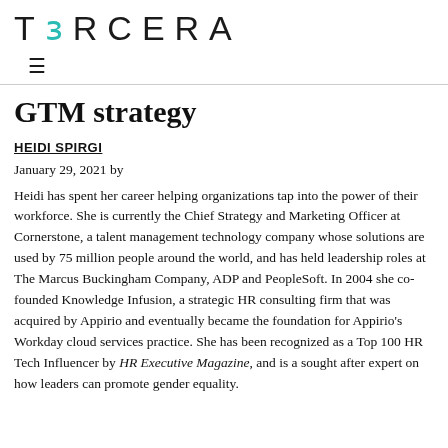TERCERA
GTM strategy
HEIDI SPIRGI
January 29, 2021 by
Heidi has spent her career helping organizations tap into the power of their workforce. She is currently the Chief Strategy and Marketing Officer at Cornerstone, a talent management technology company whose solutions are used by 75 million people around the world, and has held leadership roles at The Marcus Buckingham Company, ADP and PeopleSoft. In 2004 she co-founded Knowledge Infusion, a strategic HR consulting firm that was acquired by Appirio and eventually became the foundation for Appirio's Workday cloud services practice. She has been recognized as a Top 100 HR Tech Influencer by HR Executive Magazine, and is a sought after expert on how leaders can promote gender equality.